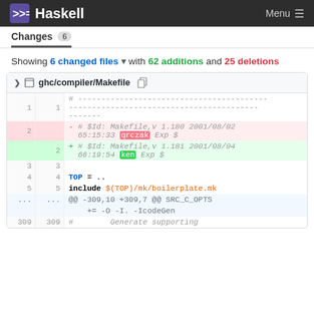Haskell  Menu
Changes 6
Showing 6 changed files with 62 additions and 25 deletions
| old | new | code |
| --- | --- | --- |
| 1 | 1 | # ---------------------------------------- |
| 2 |  | - # $Id: Makefile,v 1.180 2001/08/02 65:15:33 qrczak Exp $ |
|  | 2 | + # $Id: Makefile,v 1.181 2001/08/04 66:19:54 ken Exp $ |
| 3 | 3 |  |
| 4 | 4 | TOP = .. |
| 5 | 5 | include $(TOP)/mk/boilerplate.mk |
| ... | ... | @@ -309,10 +309,7 @@ SRC_C_OPTS |
|  |  |     += -O -I. -IcodeGen |
| 309 | 309 | #          Generate supporting |